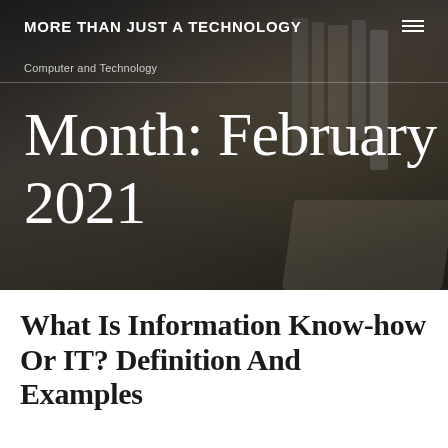MORE THAN JUST A TECHNOLOGY
Computer and Technology
Month: February 2021
What Is Information Know-how Or IT? Definition And Examples